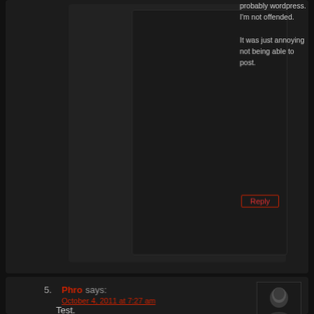probably wordpress. I'm not offended.

It was just annoying not being able to post.
Reply
5.
Phro says:
October 4, 2011 at 7:27 am
Test.